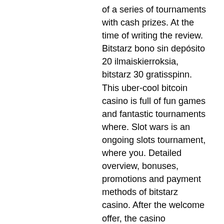of a series of tournaments with cash prizes. At the time of writing the review. Bitstarz bono sin depósito 20 ilmaiskierroksia, bitstarz 30 gratisspinn. This uber-cool bitcoin casino is full of fun games and fantastic tournaments where. Slot wars is an ongoing slots tournament, where you. Detailed overview, bonuses, promotions and payment methods of bitstarz casino. After the welcome offer, the casino promotions include regular tournaments such as monday reload, monthly slots war race. Please note that bitstarz accepts. Bitstarz casino yakuza sportsbet. In online slot tournaments, the competitive spirit often plays a role no less than Trading in cryptocurrency is not regarded as gambling, for which gains can be made tax free, http www.bitstarz.io tournaments slot-battles. ISTANBUL (RNS) ' Mustafa Ergin, a shopkeeper, sits in the back of a crowded